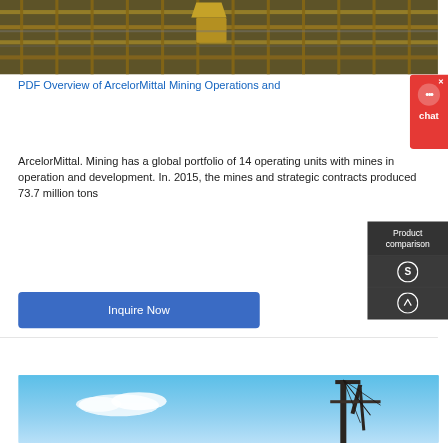[Figure (photo): Aerial/overhead view of yellow industrial mining machinery and conveyor equipment in an industrial facility]
PDF Overview of ArcelorMittal Mining Operations and
[Figure (other): Red chat widget with speech bubble icon and 'chat' label, with X close button]
ArcelorMittal. Mining has a global portfolio of 14 operating units with mines in operation and development. In. 2015, the mines and strategic contracts produced 73.7 million tons
[Figure (other): Dark grey Product comparison sidebar with Scribd-style S icon and up-arrow icon]
[Figure (other): Blue 'Inquire Now' button]
[Figure (photo): Photo of industrial crane or mining equipment against a blue sky with clouds]